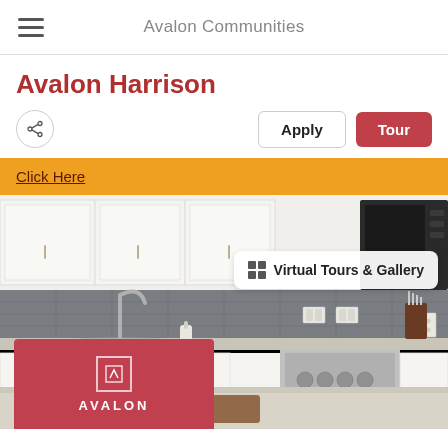Avalon Communities
Avalon Harrison
Apply  Tour
Click Here
[Figure (photo): Kitchen interior photo showing white cabinets, gray subway tile backsplash, stainless steel appliances including gas range and microwave, modern faucet, and white quartz countertops. An Avalon logo overlay appears at the bottom. A 'Virtual Tours & Gallery' button overlay appears on the right side.]